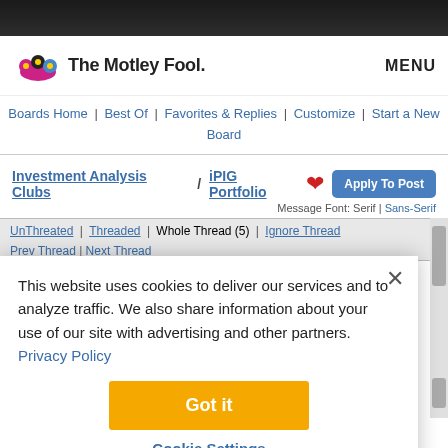The Motley Fool | MENU
Boards Home | Best Of | Favorites & Replies | Customize | Start a New Board
Investment Analysis Clubs / iPIG Portfolio ❤ Apply To Post
Message Font: Serif | Sans-Serif
UnThreaded | Threaded | Whole Thread (5) | Ignore Thread
Prev Thread | Next Thread
This website uses cookies to deliver our services and to analyze traffic. We also share information about your use of our site with advertising and other partners. Privacy Policy
Got it
Cookie Settings